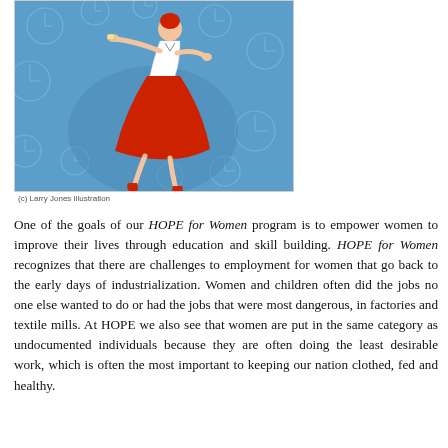[Figure (illustration): Illustration of a woman in a red dress and white apron, dancing or running energetically, surrounded by clock faces on a blue background. Copyright Larry Jones Illustration.]
(c) Larry Jones Illustration
One of the goals of our HOPE for Women program is to empower women to improve their lives through education and skill building. HOPE for Women recognizes that there are challenges to employment for women that go back to the early days of industrialization. Women and children often did the jobs no one else wanted to do or had the jobs that were most dangerous, in factories and textile mills. At HOPE we also see that women are put in the same category as undocumented individuals because they are often doing the least desirable work, which is often the most important to keeping our nation clothed, fed and healthy.